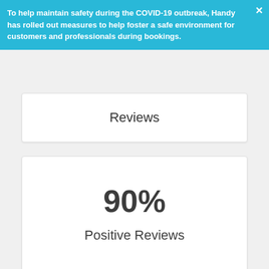To help maintain safety during the COVID-19 outbreak, Handy has rolled out measures to help foster a safe environment for customers and professionals during bookings.
Reviews
90%
Positive Reviews